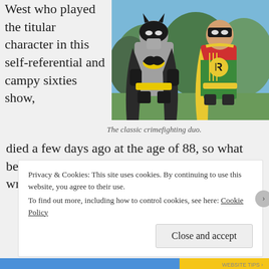West who played the titular character in this self-referential and campy sixties show,
[Figure (photo): Batman and Robin in costume from the classic 1960s TV show, standing outdoors with trees in background.]
The classic crimefighting duo.
died a few days ago at the age of 88, so what better way to honour him than with a brief write-up on a blog nobody reads?
Privacy & Cookies: This site uses cookies. By continuing to use this website, you agree to their use.
To find out more, including how to control cookies, see here: Cookie Policy

Close and accept